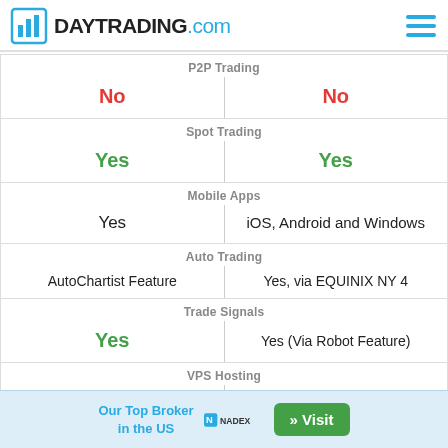DAYTRADING.com
| Feature | Broker 1 | Broker 2 |
| --- | --- | --- |
| P2P Trading | No | No |
| Spot Trading | Yes | Yes |
| Mobile Apps | Yes | iOS, Android and Windows |
| Auto Trading | AutoChartist Feature | Yes, via EQUINIX NY 4 |
| Trade Signals | Yes | Yes (Via Robot Feature) |
| VPS Hosting | No | Yes |
Our Top Broker in the US » Visit